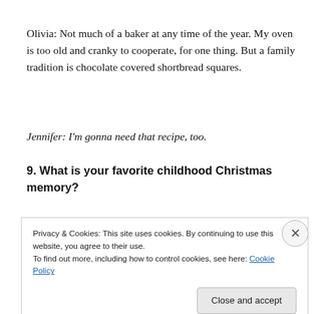Olivia: Not much of a baker at any time of the year. My oven is too old and cranky to cooperate, for one thing. But a family tradition is chocolate covered shortbread squares.
Jennifer: I'm gonna need that recipe, too.
9. What is your favorite childhood Christmas memory?
Privacy & Cookies: This site uses cookies. By continuing to use this website, you agree to their use.
To find out more, including how to control cookies, see here: Cookie Policy